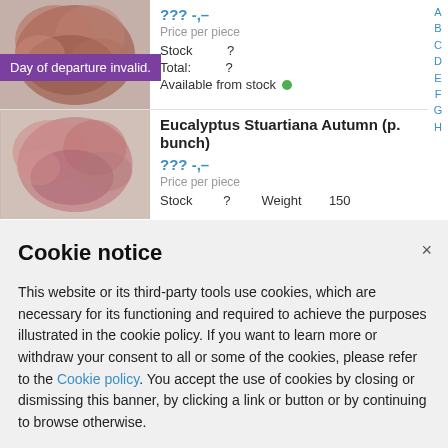[Figure (photo): Eucalyptus plant with reddish-brown foliage, top product row image]
Day of departure invalid.
??? -,–
Price per piece
Stock    ?
Total:    ?
Available from stock ●
[Figure (photo): Eucalyptus plant with reddish-pink foliage, second product row image]
Eucalyptus Stuartiana Autumn (p. bunch)
??? -,–
Price per piece
Stock    ?    Weight    150
Cookie notice
This website or its third-party tools use cookies, which are necessary for its functioning and required to achieve the purposes illustrated in the cookie policy. If you want to learn more or withdraw your consent to all or some of the cookies, please refer to the Cookie policy. You accept the use of cookies by closing or dismissing this banner, by clicking a link or button or by continuing to browse otherwise.
Close
Learn more